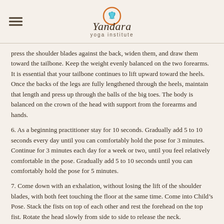Yandara yoga institute
press the shoulder blades against the back, widen them, and draw them toward the tailbone. Keep the weight evenly balanced on the two forearms. It is essential that your tailbone continues to lift upward toward the heels. Once the backs of the legs are fully lengthened through the heels, maintain that length and press up through the balls of the big toes. The body is balanced on the crown of the head with support from the forearms and hands.
6. As a beginning practitioner stay for 10 seconds. Gradually add 5 to 10 seconds every day until you can comfortably hold the pose for 3 minutes. Continue for 3 minutes each day for a week or two, until you feel relatively comfortable in the pose. Gradually add 5 to 10 seconds until you can comfortably hold the pose for 5 minutes.
7. Come down with an exhalation, without losing the lift of the shoulder blades, with both feet touching the floor at the same time. Come into Child’s Pose. Stack the fists on top of each other and rest the forehead on the top fist. Rotate the head slowly from side to side to release the neck.